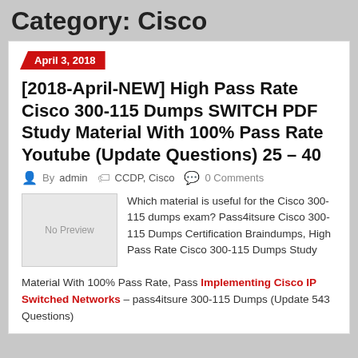Category: Cisco
April 3, 2018
[2018-April-NEW] High Pass Rate Cisco 300-115 Dumps SWITCH PDF Study Material With 100% Pass Rate Youtube (Update Questions) 25 – 40
By admin   CCDP, Cisco   0 Comments
[Figure (other): No Preview placeholder image box]
Which material is useful for the Cisco 300-115 dumps exam? Pass4itsure Cisco 300-115 Dumps Certification Braindumps, High Pass Rate Cisco 300-115 Dumps Study Material With 100% Pass Rate, Pass Implementing Cisco IP Switched Networks – pass4itsure 300-115 Dumps (Update 543 Questions)